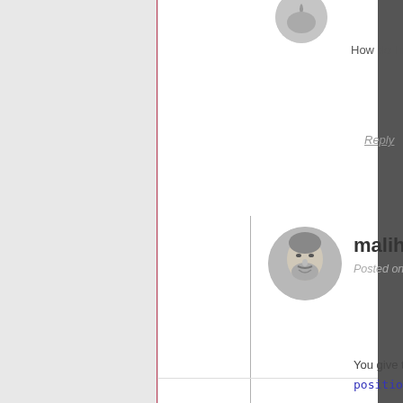How do I make header
Reply
malihu
Posted on Augus
You give the he
position: f.
You should hav a tutorial/exam
Reply